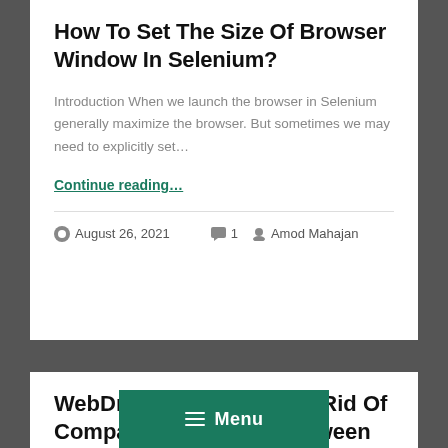How To Set The Size Of Browser Window In Selenium?
Introduction When we launch the browser in Selenium generally maximize the browser. But sometimes we may need to explicitly set...
Continue reading...
August 26, 2021   1   Amod Mahajan
WebDriverManager – Get Rid Of Compatability Issues Between Browser An...